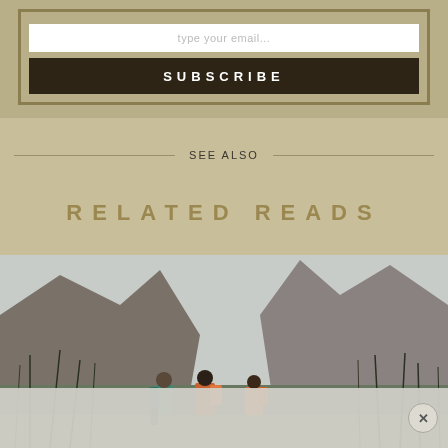type your email...
SUBSCRIBE
SEE ALSO
RELATED READS
[Figure (photo): Three hikers with backpacks walking through a mountain valley with rocky cliffs and bare trees, overcast sky]
[Figure (photo): Ad overlay banner at bottom of page with close (x) button]